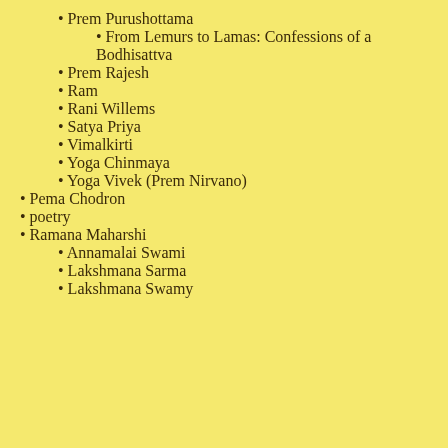Prem Purushottama
From Lemurs to Lamas: Confessions of a Bodhisattva
Prem Rajesh
Ram
Rani Willems
Satya Priya
Vimalkirti
Yoga Chinmaya
Yoga Vivek (Prem Nirvano)
Pema Chodron
poetry
Ramana Maharshi
Annamalai Swami
Lakshmana Sarma
Lakshmana Swamy